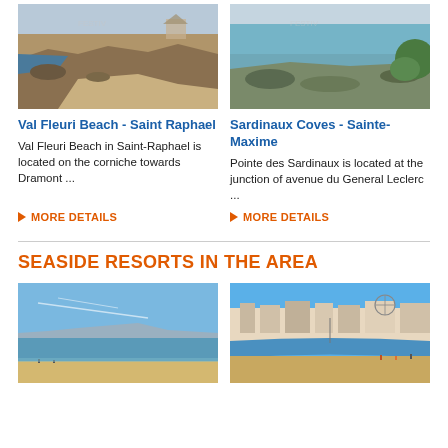[Figure (photo): Rocky beach coastline at Val Fleuri Beach, Saint Raphael - shows rocky shore, sandy path, and sea]
[Figure (photo): Sardinaux Coves at Sainte-Maxime - calm sea water with rocky shore and vegetation]
Val Fleuri Beach - Saint Raphael
Val Fleuri Beach in Saint-Raphael is located on the corniche towards Dramont ...
MORE DETAILS
Sardinaux Coves - Sainte-Maxime
Pointe des Sardinaux is located at the junction of avenue du General Leclerc ...
MORE DETAILS
SEASIDE RESORTS IN THE AREA
[Figure (photo): Sandy beach with calm blue water, blue sky - seaside resort area]
[Figure (photo): Curved beach with buildings and resort town in background, people on beach]